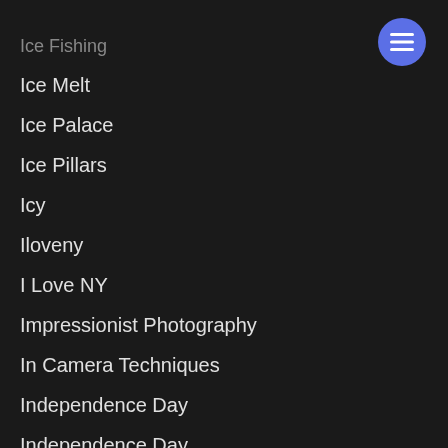Ice Fishing
Ice Melt
Ice Palace
Ice Pillars
Icy
Iloveny
I Love NY
Impressionist Photography
In Camera Techniques
Independence Day
Independence Day
Indian Summer
[Figure (other): Blue circular hamburger menu button in top-right corner]